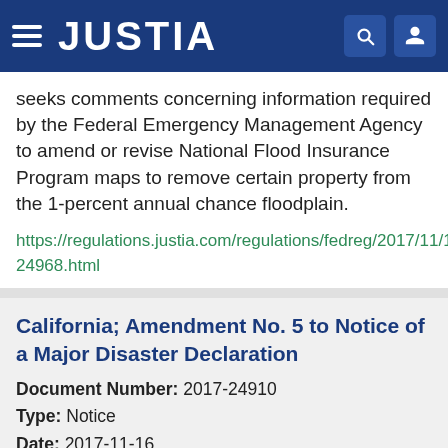JUSTIA
seeks comments concerning information required by the Federal Emergency Management Agency to amend or revise National Flood Insurance Program maps to remove certain property from the 1-percent annual chance floodplain.
https://regulations.justia.com/regulations/fedreg/2017/11/17/2017-24968.html
California; Amendment No. 5 to Notice of a Major Disaster Declaration
Document Number: 2017-24910
Type: Notice
Date: 2017-11-16
Agency: Federal Emergency Management Agency, Department of Homeland Security
This notice amends the notice of a major disaster